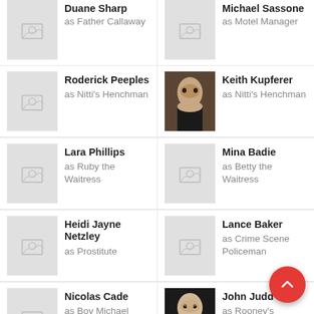Duane Sharp as Father Callaway
Michael Sassone as Motel Manager
Roderick Peeples as Nitti's Henchman
Keith Kupferer as Nitti's Henchman
Lara Phillips as Ruby the Waitress
Mina Badie as Betty the Waitress
Heidi Jayne Netzley as Prostitute
Lance Baker as Crime Scene Policeman
Nicolas Cade as Boy Michael Fights
John Judd as Rooney's Business Associate
Kerry Rossall as Rooney's
Ian Barford as Rooney's